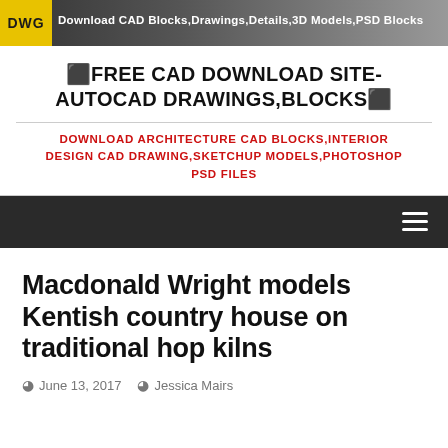[Figure (screenshot): Website banner with DWG logo and text: Download CAD Blocks,Drawings,Details,3D Models,PSD Blocks]
⬛FREE CAD DOWNLOAD SITE-AUTOCAD DRAWINGS,BLOCKS⬛
DOWNLOAD ARCHITECTURE CAD BLOCKS,INTERIOR DESIGN CAD DRAWING,SKETCHUP MODELS,PHOTOSHOP PSD FILES
≡
Macdonald Wright models Kentish country house on traditional hop kilns
June 13, 2017   Jessica Mairs